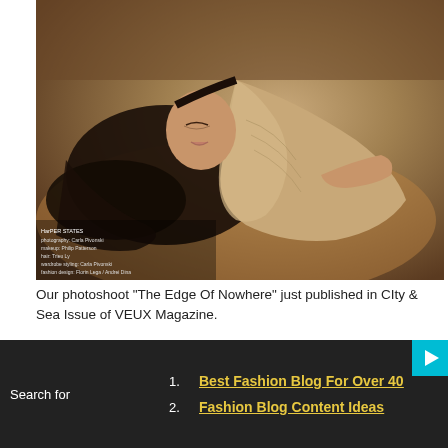[Figure (photo): Fashion photoshoot image of a model lying on sandy/rocky ground, wearing a beige/gold dress, with curly dark hair spread around her. Desert setting. Overlaid credits text at bottom left of image.]
Our photoshoot "The Edge Of Nowhere" just published in CIty & Sea Issue of VEUX Magazine.
Photography & Styling: Carla Pivonski Hair: Trieu Ly Makeup: Philip Patterson Model: Tsubasa Watanabe @ Major ©Carla Pivonski® 2008-2013. All rights reserved.
Search for
1. Best Fashion Blog For Over 40
2. Fashion Blog Content Ideas